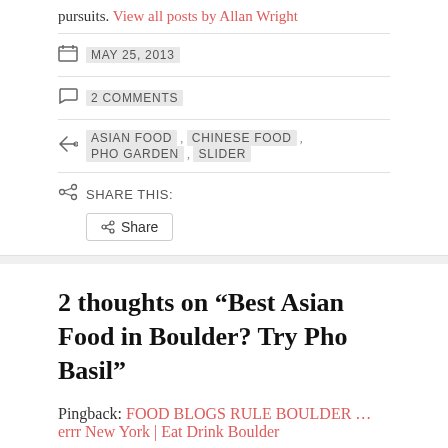pursuits. View all posts by Allan Wright
MAY 25, 2013
2 COMMENTS
ASIAN FOOD , CHINESE FOOD , PHO GARDEN , SLIDER
SHARE THIS:
Share
2 thoughts on “Best Asian Food in Boulder? Try Pho Basil”
Pingback: FOOD BLOGS RULE BOULDER ... errr New York | Eat Drink Boulder